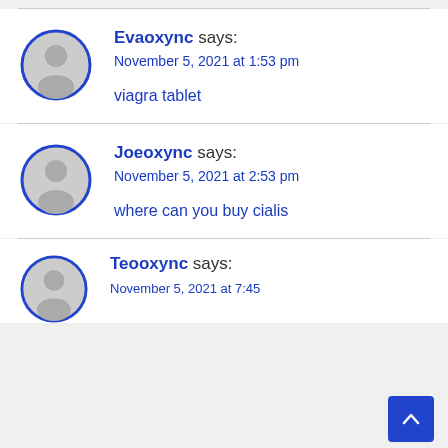Evaoxync says:
November 5, 2021 at 1:53 pm

viagra tablet
Joeoxync says:
November 5, 2021 at 2:53 pm

where can you buy cialis
Teooxync says: